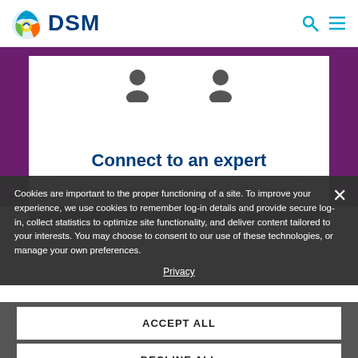[Figure (logo): DSM company logo with colorful swirl icon and bold blue DSM text]
[Figure (screenshot): Purple background section with white card showing two person silhouettes and Connect to an expert heading]
Connect to an expert
If the options above don't sound like you, skip ahead and contact us
Cookies are important to the proper functioning of a site. To improve your experience, we use cookies to remember log-in details and provide secure log-in, collect statistics to optimize site functionality, and deliver content tailored to your interests. You may choose to consent to our use of these technologies, or manage your own preferences.
Privacy
ACCEPT ALL
DECLINE ALL
MANAGE SETTINGS
Quick Links